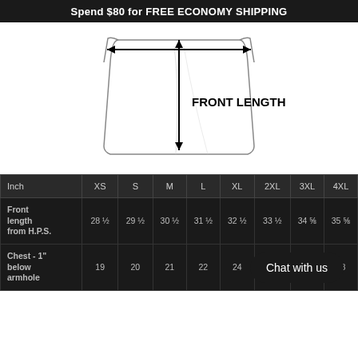Spend $80 for FREE ECONOMY SHIPPING
[Figure (illustration): T-shirt diagram showing FRONT LENGTH measurement with a vertical arrow from shoulder to hem and a horizontal arrow spanning the chest width at the top.]
| Inch | XS | S | M | L | XL | 2XL | 3XL | 4XL |
| --- | --- | --- | --- | --- | --- | --- | --- | --- |
| Front length from H.P.S. | 28 ½ | 29 ½ | 30 ½ | 31 ½ | 32 ½ | 33 ½ | 34 ⅝ | 35 ⅝ |
| Chest - 1" below armhole | 19 | 20 | 21 | 22 | 24 | 26 | 27 | 28 |